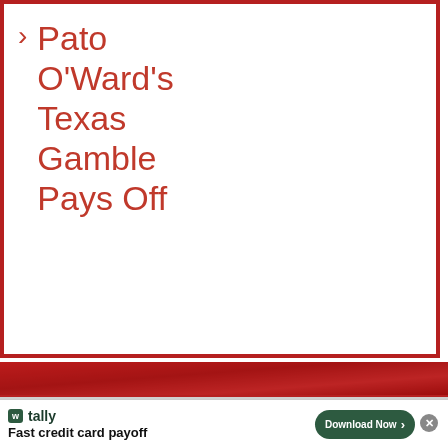> Pato O'Ward's Texas Gamble Pays Off
[Figure (photo): Red racing/sports background image banner strip]
[Figure (other): Gray advertisement placeholder block]
[Figure (other): Tally app advertisement banner: logo with 'w tally', tagline 'Fast credit card payoff', Download Now button, close button]